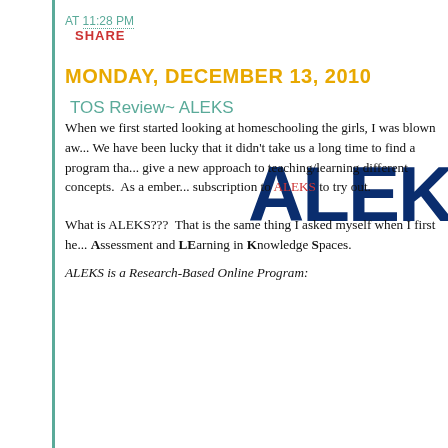AT 11:28 PM
SHARE
MONDAY, DECEMBER 13, 2010
TOS Review~ ALEKS
[Figure (logo): ALEKS logo in dark navy blue bold text, partially cropped on the right side]
When we first started looking at homeschooling the girls, I was blown aw... We have been lucky that it didn't take us a long time to find a program tha... give a new approach to teaching/learning different concepts. As a ember... subscription to ALEKS to try out.
What is ALEKS???  That is the same thing I asked myself when I first he... Assessment and LEarning in Knowledge Spaces.
ALEKS is a Research-Based Online Program: